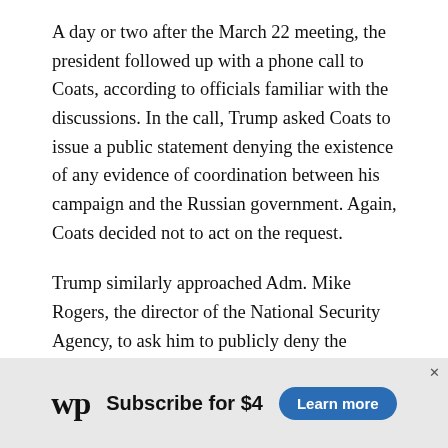A day or two after the March 22 meeting, the president followed up with a phone call to Coats, according to officials familiar with the discussions. In the call, Trump asked Coats to issue a public statement denying the existence of any evidence of coordination between his campaign and the Russian government. Again, Coats decided not to act on the request.
Trump similarly approached Adm. Mike Rogers, the director of the National Security Agency, to ask him to publicly deny the existence of any evidence of coordination, as The Post previously reported, according to current and former officials. Like Coats, Rogers refused to comply with the president's request.
[Figure (other): Washington Post advertisement banner: WP logo, 'Subscribe for $4', and 'Learn more' blue button]